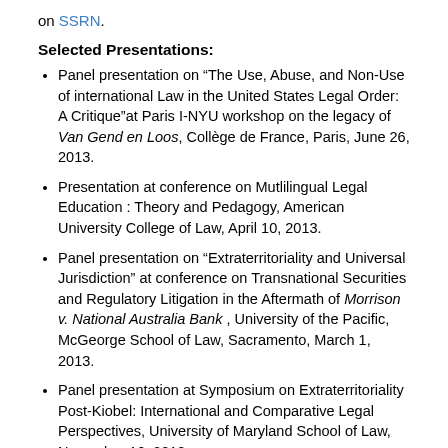on SSRN.
Selected Presentations:
Panel presentation on “The Use, Abuse, and Non-Use of international Law in the United States Legal Order: A Critique”at Paris I-NYU workshop on the legacy of Van Gend en Loos, Collège de France, Paris, June 26, 2013.
Presentation at conference on Mutlilingual Legal Education : Theory and Pedagogy, American University College of Law, April 10, 2013.
Panel presentation on “Extraterritoriality and Universal Jurisdiction” at conference on Transnational Securities and Regulatory Litigation in the Aftermath of Morrison v. National Australia Bank , University of the Pacific, McGeorge School of Law, Sacramento, March 1, 2013.
Panel presentation at Symposium on Extraterritoriality Post-Kiobel: International and Comparative Legal Perspectives, University of Maryland School of Law, November 16, 2012.
Conférence pour la Chaire de Juridiction, Université de Laval, Faculty of Law (Canada), November 8, 2012.